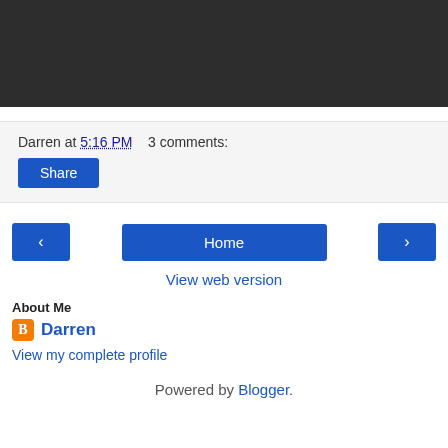[Figure (other): Dark/black rectangular banner area at the top of the page]
Darren at 5:16 PM    3 comments:
Share
‹  Home  ›
View web version
About Me
Darren
View my complete profile
Powered by Blogger.